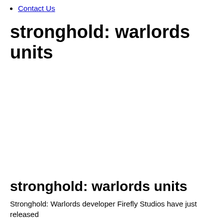Contact Us
stronghold: warlords units
stronghold: warlords units
Stronghold: Warlords developer Firefly Studios have just released